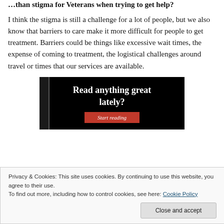…than stigma for Veterans when trying to get help?
I think the stigma is still a challenge for a lot of people, but we also know that barriers to care make it more difficult for people to get treatment. Barriers could be things like excessive wait times, the expense of coming to treatment, the logistical challenges around travel or times that our services are available.
[Figure (other): Advertisement banner with black background showing text 'Read anything great lately?' with a red 'Start reading' button, flanked by dark side bars.]
Privacy & Cookies: This site uses cookies. By continuing to use this website, you agree to their use.
To find out more, including how to control cookies, see here: Cookie Policy